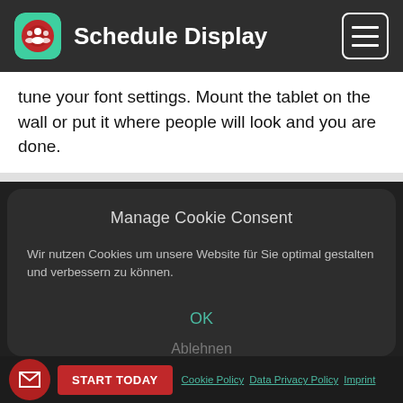Schedule Display
tune your font settings. Mount the tablet on the wall or put it where people will look and you are done.
Manage Cookie Consent
Wir nutzen Cookies um unsere Website für Sie optimal gestalten und verbessern zu können.
OK
Ablehnen
Cookie Policy  Data Privacy Policy  Imprint
START TODAY